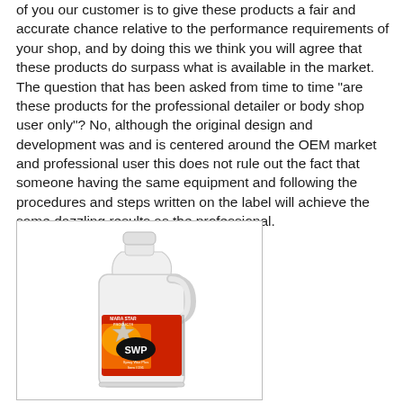of you our customer is to give these products a fair and accurate chance relative to the performance requirements of your shop, and by doing this we think you will agree that these products do surpass what is available in the market. The question that has been asked from time to time "are these products for the professional detailer or body shop user only"? No, although the original design and development was and is centered around the OEM market and professional user this does not rule out the fact that someone having the same equipment and following the procedures and steps written on the label will achieve the same dazzling results as the professional.
[Figure (photo): A large white plastic gallon jug with a handle, labeled 'MARA STAR PRODUCTS SWP Spray Wax Plus' with a colorful red/yellow/orange label.]